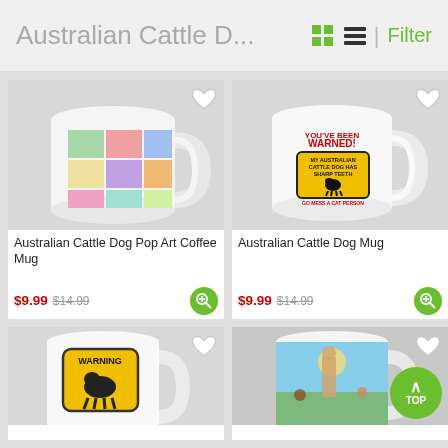Australian Cattle D...
[Figure (photo): White coffee mug with Australian Cattle Dog pop art design showing colorful dog portraits in grid pattern]
[Figure (photo): White coffee mug with 'YOU'VE BEEN WARNED! MY AUSTRALIAN CATTLE DOG HAS SHARP TEETH. GO MESS A CAT PERSON.' text and warning sign design]
Australian Cattle Dog Pop Art Coffee Mug
$9.99 $14.99
Australian Cattle Dog Mug
$9.99 $14.99
[Figure (photo): White coffee mug with WARNING sign and Australian Cattle Dog silhouette (partially visible, bottom of page)]
[Figure (photo): Mug with colorful illustrated scene featuring a person and animals (partially visible, bottom of page)]